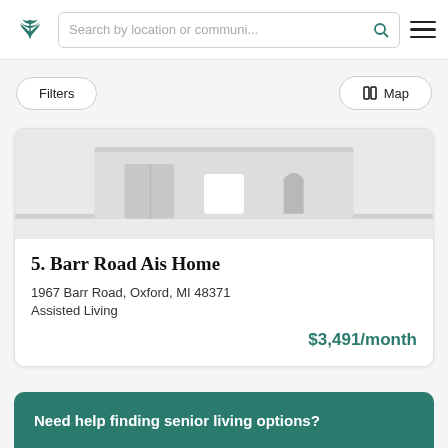Search by location or communi...
Filters
Map
[Figure (illustration): Illustration of a house facade with windows and arched door, in light gray tones]
5. Barr Road Ais Home
1967 Barr Road, Oxford, MI 48371
Assisted Living
$3,491/month
Need help finding senior living options?